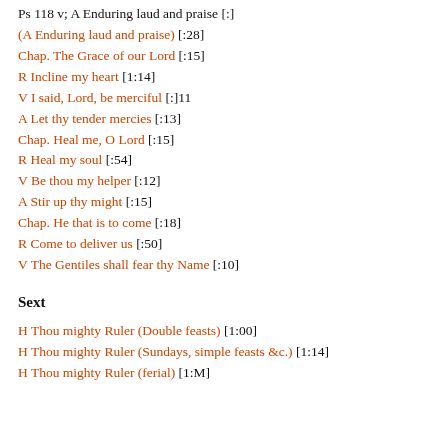Ps 118 v; A Enduring laud and praise [:]
(A Enduring laud and praise) [:28]
Chap. The Grace of our Lord [:15]
R Incline my heart [1:14]
V I said, Lord, be merciful [:]11
A Let thy tender mercies [:13]
Chap. Heal me, O Lord [:15]
R Heal my soul [:54]
V Be thou my helper [:12]
A Stir up thy might [:15]
Chap. He that is to come [:18]
R Come to deliver us [:50]
V The Gentiles shall fear thy Name [:10]
Sext
H Thou mighty Ruler (Double feasts) [1:00]
H Thou mighty Ruler (Sundays, simple feasts &c.) [1:14]
H Thou mighty Ruler (ferial) [1:M]